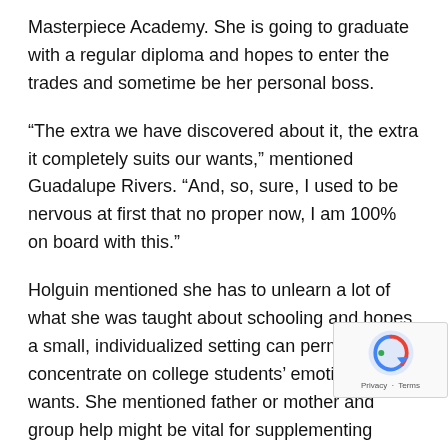Masterpiece Academy. She is going to graduate with a regular diploma and hopes to enter the trades and sometime be her personal boss.
“The extra we have discovered about it, the extra it completely suits our wants,” mentioned Guadalupe Rivers. “And, so, sure, I used to be nervous at first that no proper now, I am 100% on board with this.”
Holguin mentioned she has to unlearn a lot of what she was taught about schooling and hopes a small, individualized setting can permit her to concentrate on college students’ emotional wants. She mentioned father or mother and group help might be vital for supplementing elective lessons and counseling wants. Getting snug with change, Holguin mentioned, is a lesson value studying.
The abi...